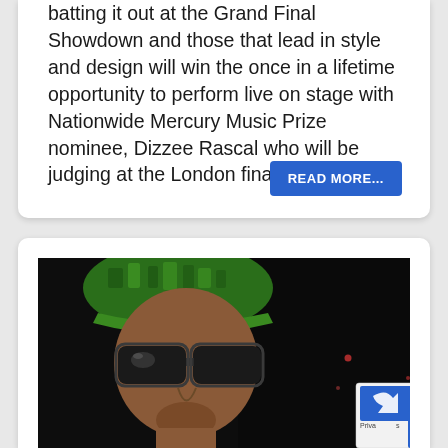batting it out at the Grand Final Showdown and those that lead in style and design will win the once in a lifetime opportunity to perform live on stage with Nationwide Mercury Music Prize nominee, Dizzee Rascal who will be judging at the London final.
READ MORE...
[Figure (photo): A man wearing a green patterned baseball cap and dark sunglasses, photographed at night. The background is very dark with a few small lights visible.]